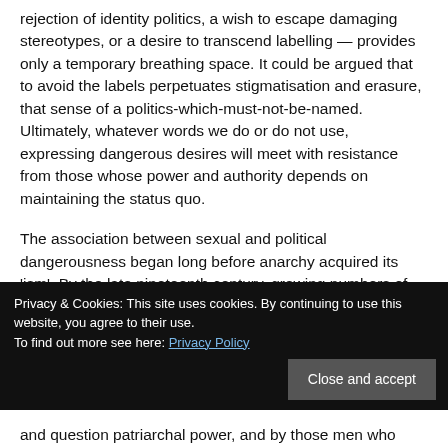rejection of identity politics, a wish to escape damaging stereotypes, or a desire to transcend labelling — provides only a temporary breathing space. It could be argued that to avoid the labels perpetuates stigmatisation and erasure, that sense of a politics-which-must-not-be-named. Ultimately, whatever words we do or do not use, expressing dangerous desires will meet with resistance from those whose power and authority depends on maintaining the status quo.
The association between sexual and political dangerousness began long before anarchy acquired its 'ism'. By the late nineteenth century, growing numbers of people
Privacy & Cookies: This site uses cookies. By continuing to use this website, you agree to their use.
To find out more see here: Privacy Policy
and question patriarchal power, and by those men who